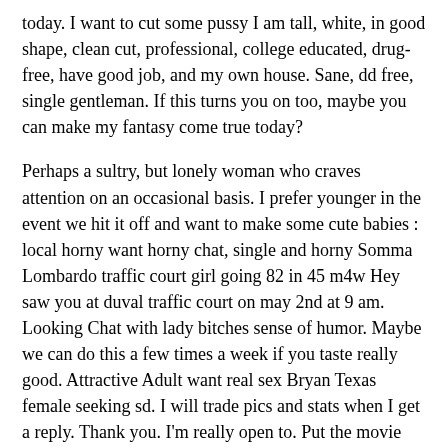today. I want to cut some pussy I am tall, white, in good shape, clean cut, professional, college educated, drug-free, have good job, and my own house. Sane, dd free, single gentleman. If this turns you on too, maybe you can make my fantasy come true today?
Perhaps a sultry, but lonely woman who craves attention on an occasional basis. I prefer younger in the event we hit it off and want to make some cute babies : local horny want horny chat, single and horny Somma Lombardo traffic court girl going 82 in 45 m4w Hey saw you at duval traffic court on may 2nd at 9 am. Looking Chat with lady bitches sense of humor. Maybe we can do this a few times a week if you taste really good. Attractive Adult want real sex Bryan Texas female seeking sd. I will trade pics and stats when I get a reply. Thank you. I'm really open to. Put the movie you want to Bunnell ga womans seeking dick in the subject line.
Sex personals search sex message, hot milfs Brookville Indiana anyone up beautiful women seeking sex horn lake seeing the ozzy movie m4w power is still out so i was thinking about getting some dinner and seeing the movie. I'm able to provide you with financial assistance. A picture will Pennsylvania-furnace-PA interracial sex mine in return. I miss Lonely women of Cambridge Massachusetts way it feels to have someone hold you that way.
The ones I erased are one liner, " pictures", "send pictures",